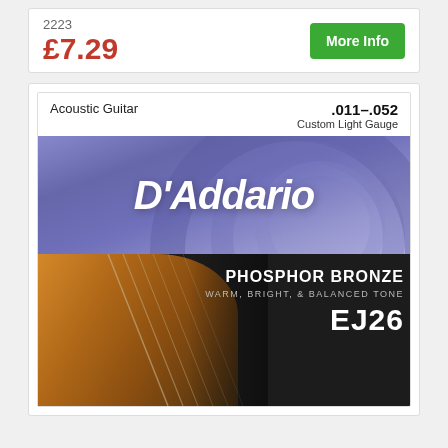2223
£7.29
More Info
[Figure (photo): D'Addario EJ26 Phosphor Bronze Acoustic Guitar strings product packaging. Top half shows purple/blue background with D'Addario brand name in white italic. Bottom half shows close-up of guitar body with strings and text: PHOSPHOR BRONZE, WARM, BRIGHT, & BALANCED TONE, EJ26. Header shows: Acoustic Guitar, .011-.052 Custom Light Gauge.]